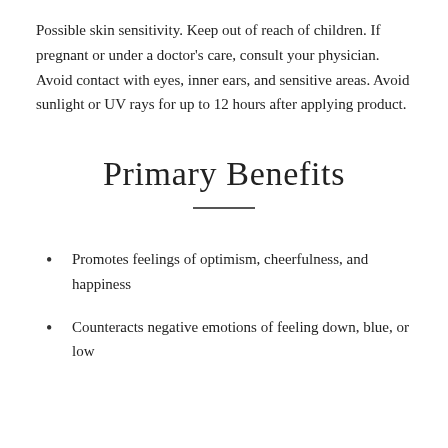Possible skin sensitivity. Keep out of reach of children. If pregnant or under a doctor's care, consult your physician. Avoid contact with eyes, inner ears, and sensitive areas. Avoid sunlight or UV rays for up to 12 hours after applying product.
Primary Benefits
Promotes feelings of optimism, cheerfulness, and happiness
Counteracts negative emotions of feeling down, blue, or low